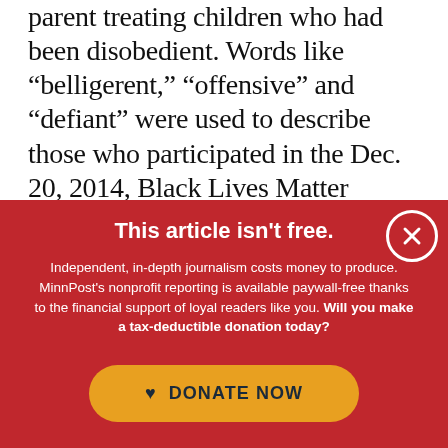parent treating children who had been disobedient. Words like “belligerent,” “offensive” and “defiant” were used to describe those who participated in the Dec. 20, 2014, Black Lives Matter demonstration at the Mall of America (MOA). The condescending tone of Busse’s article and the attempts to minimize the
This article isn't free.
Independent, in-depth journalism costs money to produce. MinnPost’s nonprofit reporting is available paywall-free thanks to the financial support of loyal readers like you. Will you make a tax-deductible donation today?
DONATE NOW